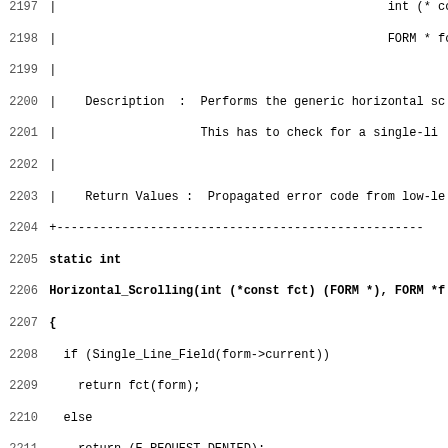Source code listing lines 2197-2228 showing C code for Horizontal_Scrolling and HSC_Scroll_Char_Forward functions with documentation comments